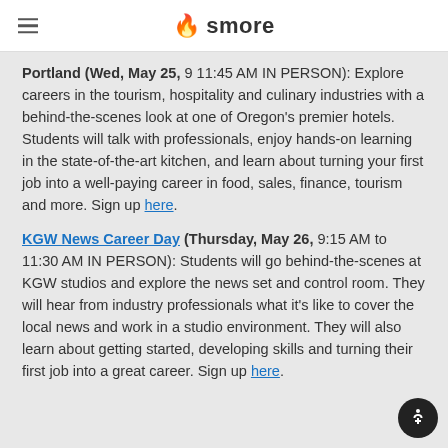smore
Portland (Wed, May 25, 9 11:45 AM IN PERSON): Explore careers in the tourism, hospitality and culinary industries with a behind-the-scenes look at one of Oregon's premier hotels. Students will talk with professionals, enjoy hands-on learning in the state-of-the-art kitchen, and learn about turning your first job into a well-paying career in food, sales, finance, tourism and more. Sign up here.
KGW News Career Day (Thursday, May 26, 9:15 AM to 11:30 AM IN PERSON): Students will go behind-the-scenes at KGW studios and explore the news set and control room. They will hear from industry professionals what it's like to cover the local news and work in a studio environment. They will also learn about getting started, developing skills and turning their first job into a great career. Sign up here.